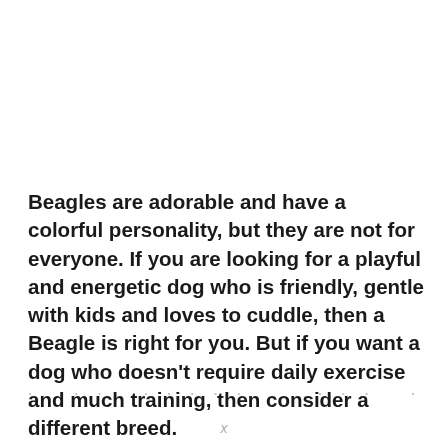Beagles are adorable and have a colorful personality, but they are not for everyone. If you are looking for a playful and energetic dog who is friendly, gentle with kids and loves to cuddle, then a Beagle is right for you. But if you want a dog who doesn't require daily exercise and much training, then consider a different breed.
. . . . . . . . . . . . . . . . . . . . . . . . .